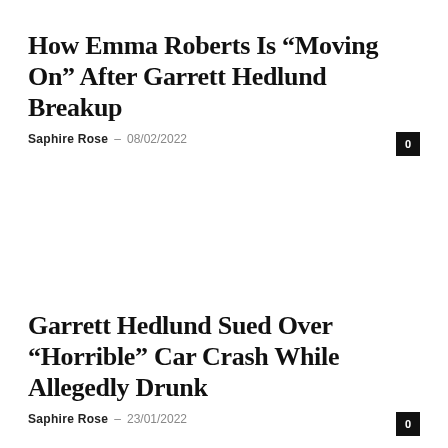How Emma Roberts Is “Moving On” After Garrett Hedlund Breakup
Saphire Rose – 08/02/2022
Garrett Hedlund Sued Over “Horrible” Car Crash While Allegedly Drunk
Saphire Rose – 23/01/2022